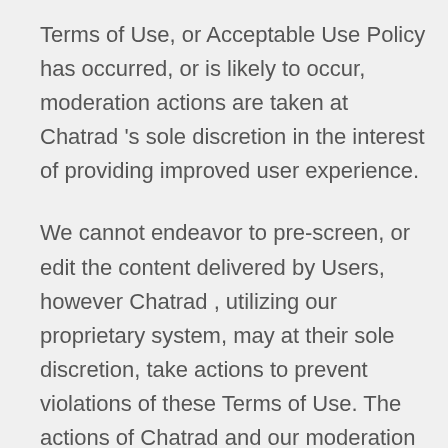Terms of Use, or Acceptable Use Policy has occurred, or is likely to occur, moderation actions are taken at Chatrad 's sole discretion in the interest of providing improved user experience.
We cannot endeavor to pre-screen, or edit the content delivered by Users, however Chatrad , utilizing our proprietary system, may at their sole discretion, take actions to prevent violations of these Terms of Use. The actions of Chatrad and our moderation or review systems will apply to all users, accounts, websites, or applications utilizing our proprietary chat platform.
Moderation and Review may result in actions